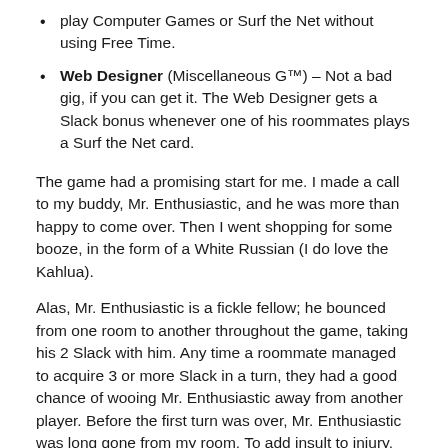play Computer Games or Surf the Net without using Free Time.
Web Designer (Miscellaneous G™) – Not a bad gig, if you can get it. The Web Designer gets a Slack bonus whenever one of his roommates plays a Surf the Net card.
The game had a promising start for me. I made a call to my buddy, Mr. Enthusiastic, and he was more than happy to come over. Then I went shopping for some booze, in the form of a White Russian (I do love the Kahlua).
Alas, Mr. Enthusiastic is a fickle fellow; he bounced from one room to another throughout the game, taking his 2 Slack with him. Any time a roommate managed to acquire 3 or more Slack in a turn, they had a good chance of wooing Mr. Enthusiastic away from another player. Before the first turn was over, Mr. Enthusiastic was long gone from my room. To add insult to injury, he was replaced by Can't Handle It Guy, a pantywaist who rendered my delicious liquor completely useless.